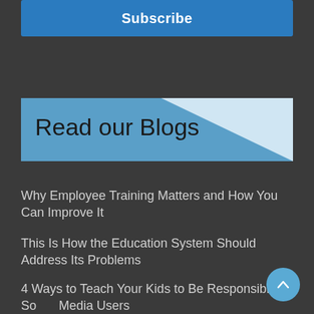Subscribe
Read our Blogs
Why Employee Training Matters and How You Can Improve It
This Is How the Education System Should Address Its Problems
4 Ways to Teach Your Kids to Be Responsible Social Media Users